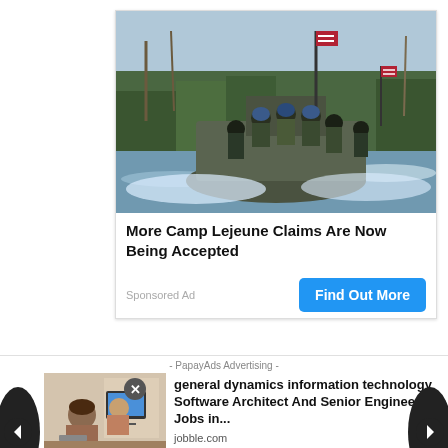[Figure (photo): Military personnel in tactical gear riding a fast military boat through a waterway, with trees and water visible in the background. An American flag is visible on the boat.]
More Camp Lejeune Claims Are Now Being Accepted
Sponsored Ad
Find Out More
- PapayAds Advertising -
[Figure (photo): Person working at a desk with a computer monitor, office setting.]
general dynamics information technology Software Architect And Senior Engineer Jobs in...
jobble.com